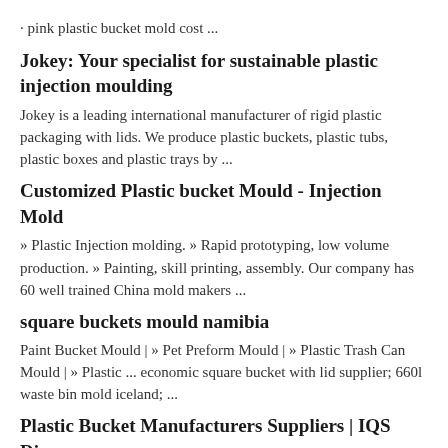· pink plastic bucket mold cost ...
Jokey: Your specialist for sustainable plastic injection moulding
Jokey is a leading international manufacturer of rigid plastic packaging with lids. We produce plastic buckets, plastic tubs, plastic boxes and plastic trays by ...
Customized Plastic bucket Mould - Injection Mold
» Plastic Injection molding. » Rapid prototyping, low volume production. » Painting, skill printing, assembly. Our company has 60 well trained China mold makers ...
square buckets mould namibia
Paint Bucket Mould | » Pet Preform Mould | » Plastic Trash Can Mould | » Plastic ... economic square bucket with lid supplier; 660l waste bin mold iceland; ...
Plastic Bucket Manufacturers Suppliers | IQS Di...